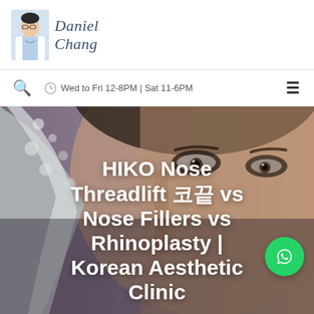Daniel Chang — logo with doctor photo
Wed to Fri 12-8PM | Sat 11-6PM
[Figure (photo): Close-up photo of an Asian woman's face with a wet/foamy cloth draped over part of her face, used as hero banner background for a Korean aesthetic clinic blog post about HIKO Nose Threadlift vs Nose Fillers vs Rhinoplasty]
HIKO Nose Threadlift 코끝 vs Nose Fillers vs Rhinoplasty | Korean Aesthetic Clinic